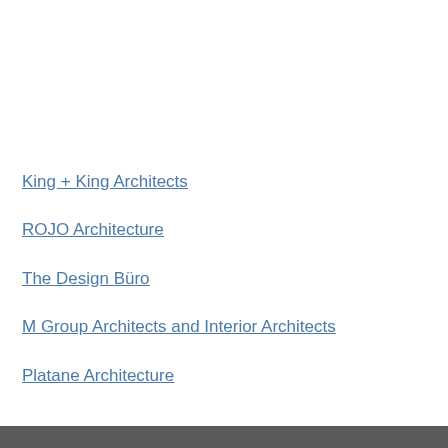King + King Architects
ROJO Architecture
The Design Büro
M Group Architects and Interior Architects
Platane Architecture